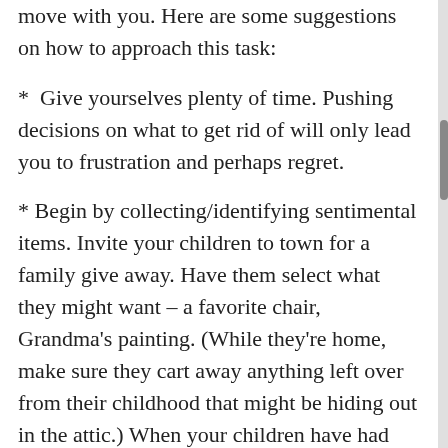move with you. Here are some suggestions on how to approach this task:
*  Give yourselves plenty of time. Pushing decisions on what to get rid of will only lead you to frustration and perhaps regret.
* Begin by collecting/identifying sentimental items. Invite your children to town for a family give away. Have them select what they might want – a favorite chair, Grandma's painting. (While they're home, make sure they cart away anything left over from their childhood that might be hiding out in the attic.) When your children have had their turn, invite your closest friends to do the same. Knowing these items will be with people you love and care about will be easier for you